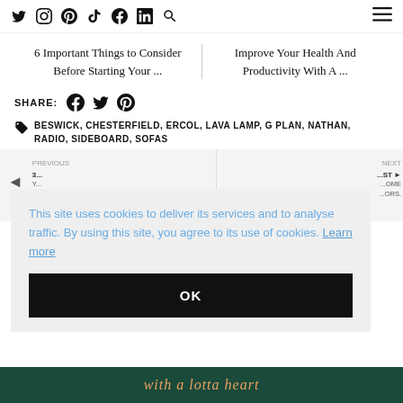Social media icons: Twitter, Instagram, Pinterest, TikTok, Facebook, LinkedIn, Search, Hamburger menu
6 Important Things to Consider Before Starting Your ...
Improve Your Health And Productivity With A ...
SHARE: [Facebook] [Twitter] [Pinterest]
BESWICK, CHESTERFIELD, ERCOL, LAVA LAMP, G PLAN, NATHAN, RADIO, SIDEBOARD, SOFAS
This site uses cookies to deliver its services and to analyse traffic. By using this site, you agree to its use of cookies. Learn more
OK
[Figure (screenshot): Bottom image strip with italic text 'with a lotta heart' on dark green background]